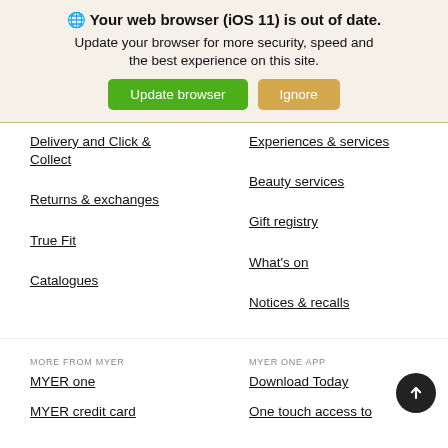[Figure (screenshot): Browser update warning banner with globe icon, bold title 'Your web browser (iOS 11) is out of date.', subtitle text, and two buttons: 'Update browser' (green) and 'Ignore' (tan/orange)]
Delivery and Click & Collect
Experiences & services
Returns & exchanges
Beauty services
True Fit
Gift registry
Catalogues
What's on
Notices & recalls
MORE FROM MYER
MYER ONE APP
MYER one
Download Today
MYER credit card
One touch access to